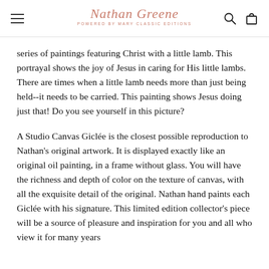Nathan Greene — Powered by Mary Classic Editions
series of paintings featuring Christ with a little lamb. This portrayal shows the joy of Jesus in caring for His little lambs. There are times when a little lamb needs more than just being held--it needs to be carried. This painting shows Jesus doing just that! Do you see yourself in this picture?
A Studio Canvas Giclée is the closest possible reproduction to Nathan's original artwork. It is displayed exactly like an original oil painting, in a frame without glass. You will have the richness and depth of color on the texture of canvas, with all the exquisite detail of the original. Nathan hand paints each Giclée with his signature. This limited edition collector's piece will be a source of pleasure and inspiration for you and all who view it for many years